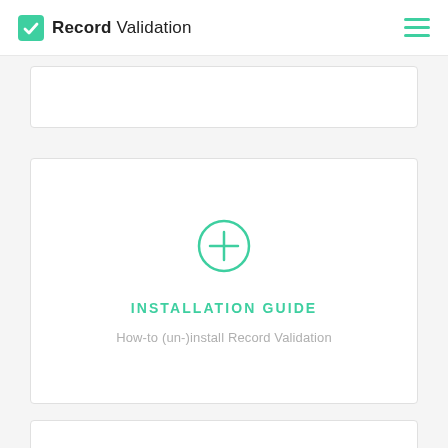Record Validation
[Figure (screenshot): Installation Guide card with green plus circle icon, title INSTALLATION GUIDE, subtitle How-to (un-)install Record Validation]